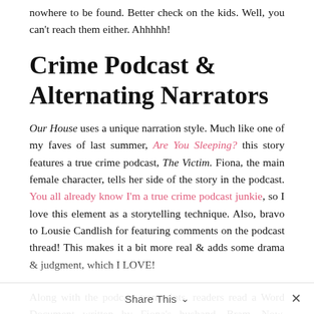nowhere to be found. Better check on the kids. Well, you can't reach them either. Ahhhhh!
Crime Podcast & Alternating Narrators
Our House uses a unique narration style. Much like one of my faves of last summer, Are You Sleeping? this story features a true crime podcast, The Victim. Fiona, the main female character, tells her side of the story in the podcast. You all already know I'm a true crime podcast junkie, so I love this element as a storytelling technique. Also, bravo to Lousie Candlish for featuring comments on the podcast thread! This makes it a bit more real & adds some drama & judgment, which I LOVE!
Along with the podcast transcripts, readers read a Word Document written by Fiona's husband, Bram. Now, remember, when all the mess goes down with the house,
Share This